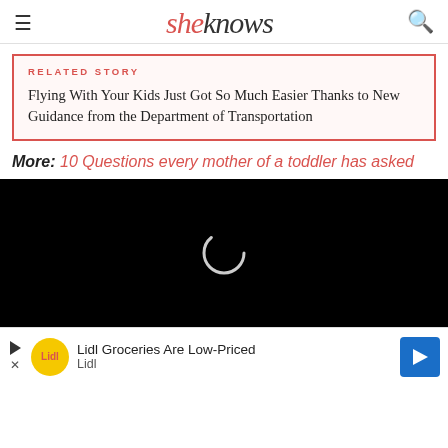sheknows
RELATED STORY
Flying With Your Kids Just Got So Much Easier Thanks to New Guidance from the Department of Transportation
More: 10 Questions every mother of a toddler has asked
[Figure (screenshot): Black video player area with loading spinner (white partial circle) on black background]
Lidl Groceries Are Low-Priced
Lidl